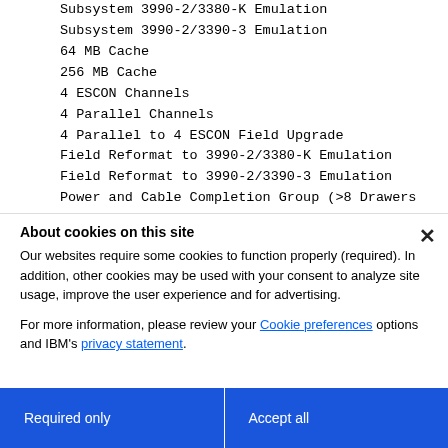Subsystem 3990-2/3380-K Emulation
Subsystem 3990-2/3390-3 Emulation
64 MB Cache
256 MB Cache
4 ESCON Channels
4 Parallel Channels
4 Parallel to 4 ESCON Field Upgrade
Field Reformat to 3990-2/3380-K Emulation
Field Reformat to 3990-2/3390-3 Emulation
Power and Cable Completion Group (>8 Drawers
About cookies on this site
Our websites require some cookies to function properly (required). In addition, other cookies may be used with your consent to analyze site usage, improve the user experience and for advertising.
For more information, please review your Cookie preferences options and IBM's privacy statement.
Required only
Accept all